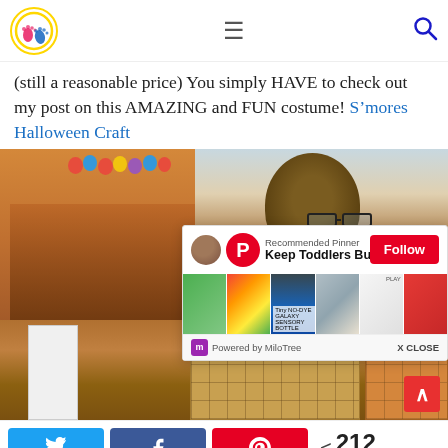Navigation header with logo, hamburger menu, and search icon
(still a reasonable price) You simply HAVE to check out my post on this AMAZING and FUN costume! S’mores Halloween Craft
[Figure (photo): Main photo collage showing a party scene with colorful balloons on the left, a smiling bald man with glasses on the right, and cardboard boxes in the foreground; overlaid with a Pinterest ‘Recommended Pinner’ popup for ‘Keep Toddlers Busy’ with a Follow button and thumbnail images]
Powered by MiloTree   X CLOSE
212 SHARES